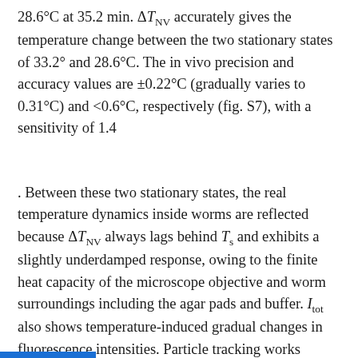28.6°C at 35.2 min. ΔT_NV accurately gives the temperature change between the two stationary states of 33.2° and 28.6°C. The in vivo precision and accuracy values are ±0.22°C (gradually varies to 0.31°C) and <0.6°C, respectively (fig. S7), with a sensitivity of 1.4
. Between these two stationary states, the real temperature dynamics inside worms are reflected because ΔT_NV always lags behind T_s and exhibits a slightly underdamped response, owing to the finite heat capacity of the microscope objective and worm surroundings including the agar pads and buffer. I_tot also shows temperature-induced gradual changes in fluorescence intensities. Particle tracking works effectively during measurement, as can be seen in Fig.